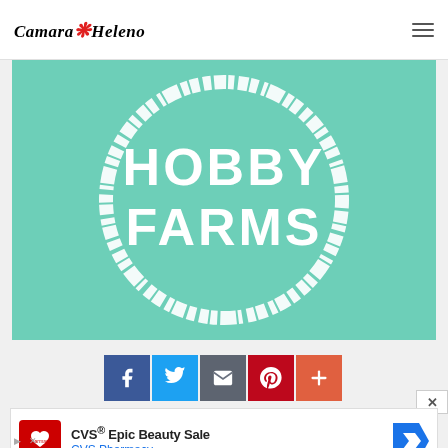Camara Heleno
[Figure (logo): Hobby Farms logo — teal/mint green background with a white distressed circle outline and bold white text reading HOBBY FARMS]
[Figure (infographic): Social sharing buttons row: Facebook (blue), Twitter (light blue), Email/envelope (dark gray), Pinterest (red), More/plus (orange-red)]
[Figure (screenshot): Advertisement banner: CVS Pharmacy ad showing CVS logo on red background, text 'CVS® Epic Beauty Sale' in bold and 'CVS Pharmacy' in blue, with a blue navigation arrow icon on the right. Close button (x) at top right corner. Ad controls at bottom left.]